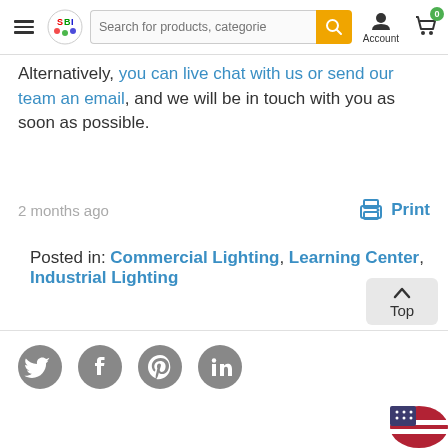Search for products, categories...
Alternatively, you can live chat with us or send our team an email, and we will be in touch with you as soon as possible.
2 months ago
Print
Posted in: Commercial Lighting, Learning Center, Industrial Lighting
[Figure (illustration): Social media icons: Twitter, Facebook, Pinterest, LinkedIn]
[Figure (illustration): US flag icon at bottom right]